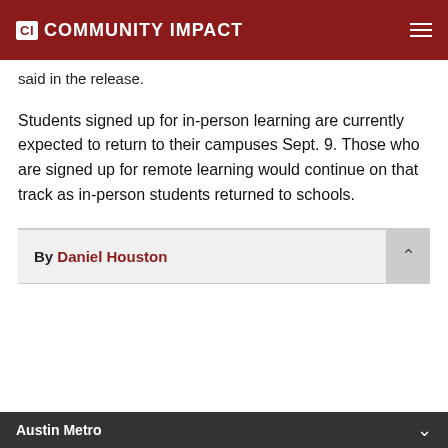CI COMMUNITY IMPACT
said in the release.
Students signed up for in-person learning are currently expected to return to their campuses Sept. 9. Those who are signed up for remote learning would continue on that track as in-person students returned to schools.
By Daniel Houston
Austin Metro